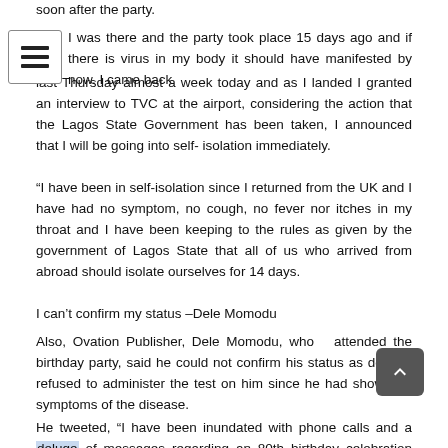soon after the party.
I was there and the party took place 15 days ago and if there is virus in my body it should have manifested by now. I came back last Thursday almost a week today and as I landed I granted an interview to TVC at the airport, considering the action that the Lagos State Government has been taken, I announced that I will be going into self- isolation immediately.
“I have been in self-isolation since I returned from the UK and I have had no symptom, no cough, no fever nor itches in my throat and I have been keeping to the rules as given by the government of Lagos State that all of us who arrived from abroad should isolate ourselves for 14 days.
I can’t confirm my status –Dele Momodu
Also, Ovation Publisher, Dele Momodu, who attended the birthday party, said he could not confirm his status as doctors refused to administer the test on him since he had shown no symptoms of the disease.
He tweeted, “I have been inundated with phone calls and a deluge of messages regarding an 80th birthday celebration that I attended in London recently.